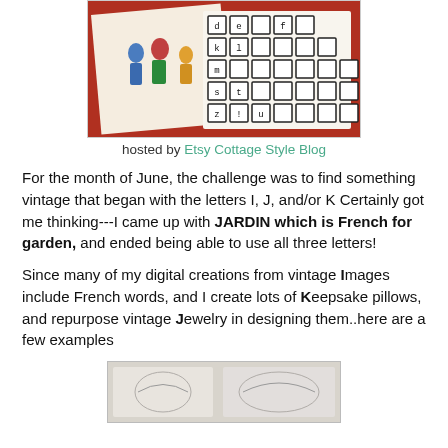[Figure (photo): Vintage photo showing children playing and letter/typewriter key tiles on a red background]
hosted by Etsy Cottage Style Blog
For the month of June, the challenge was to find something vintage that began with the letters I, J, and/or K Certainly got me thinking---I came up with JARDIN which is French for garden, and ended being able to use all three letters!
Since many of my digital creations from vintage Images include French words, and I create lots of Keepsake pillows, and repurpose vintage Jewelry in designing them..here are a few examples
[Figure (photo): Vintage keepsake pillows with French words and jewelry design elements]